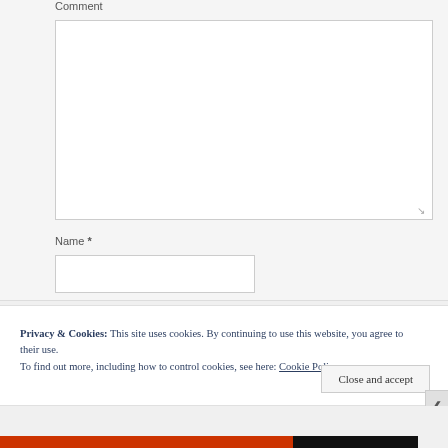Comment
[Figure (screenshot): Empty comment textarea input field with resize handle]
Name *
[Figure (screenshot): Empty name text input field]
Privacy & Cookies: This site uses cookies. By continuing to use this website, you agree to their use.
To find out more, including how to control cookies, see here: Cookie Policy
Close and accept